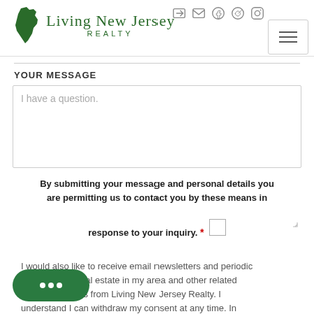[Figure (logo): Living New Jersey Realty logo with NJ state shape silhouette in green and text in green serif font]
[Figure (infographic): Header icons: login, email, facebook, twitter, instagram]
[Figure (infographic): Hamburger menu button with three horizontal lines]
YOUR MESSAGE
[Figure (screenshot): Text area input box with placeholder text 'I have a question.']
By submitting your message and personal details you are permitting us to contact you by these means in response to your inquiry.
I would also like to receive email newsletters and periodic updates about real estate in my area and other related communications from Living New Jersey Realty. I understand I can withdraw my consent at any time. In